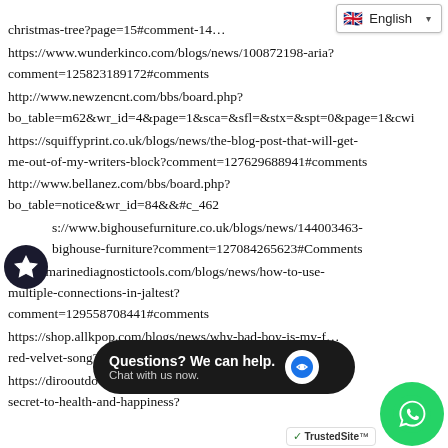christmas-tree?page=15#comment-14…
https://www.wunderkinco.com/blogs/news/100872198-aria?comment=125823189172#comments
http://www.newzencnt.com/bbs/board.php?bo_table=m62&wr_id=4&page=1&sca=&sfl=&stx=&spt=0&page=1&cwi
https://squiffyprint.co.uk/blogs/news/the-blog-post-that-will-get-me-out-of-my-writers-block?comment=127629688941#comments
http://www.bellanez.com/bbs/board.php?bo_table=notice&wr_id=84&&#c_462
https://www.bighousefurniture.co.uk/blogs/news/144003463-bighouse-furniture?comment=127084265623#Comments
https://marinediagnostictools.com/blogs/news/how-to-use-multiple-connections-in-jaltest?comment=129558708441#comments
https://shop.allkpop.com/blogs/news/why-bad-boy-is-my-f… red-velvet-song?co…ents
https://dirooutdoo…nable-sno…-secret-to-health-and-happiness?